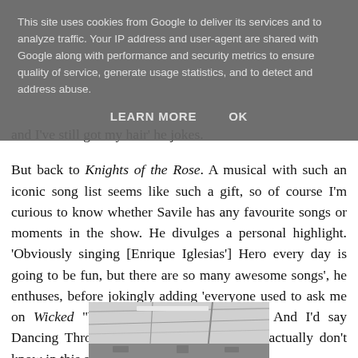and I've still got my hair' he jokes.
But back to Knights of the Rose. A musical with such an iconic song list seems like such a gift, so of course I'm curious to know whether Savile has any favourite songs or moments in the show. He divulges a personal highlight. 'Obviously singing [Enrique Iglesias'] Hero every day is going to be fun, but there are so many awesome songs', he enthuses, before jokingly adding 'everyone used to ask me on Wicked "What's your favourite song?" And I'd say Dancing Through Life, it's my song, but I actually don't know in this show!'
[Figure (photo): Black and white photo of an interior space with ceiling visible, taken from below]
This site uses cookies from Google to deliver its services and to analyze traffic. Your IP address and user-agent are shared with Google along with performance and security metrics to ensure quality of service, generate usage statistics, and to detect and address abuse.
LEARN MORE   OK